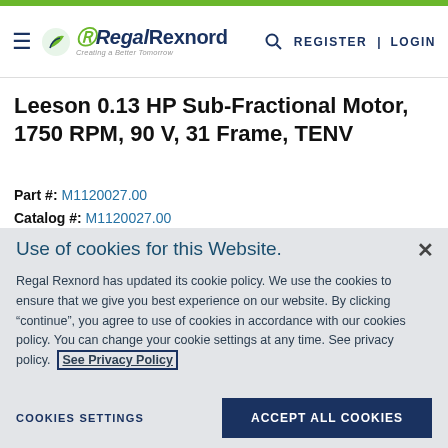Regal Rexnord | Creating a Better Tomorrow | REGISTER | LOGIN
Leeson 0.13 HP Sub-Fractional Motor, 1750 RPM, 90 V, 31 Frame, TENV
Part #: M1120027.00
Catalog #: M1120027.00
Use of cookies for this Website.
Regal Rexnord has updated its cookie policy. We use the cookies to ensure that we give you best experience on our website. By clicking “continue”, you agree to use of cookies in accordance with our cookies policy. You can change your cookie settings at any time. See privacy policy. See Privacy Policy
COOKIES SETTINGS   ACCEPT ALL COOKIES